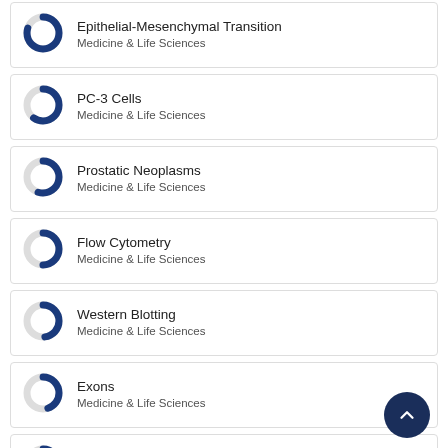Epithelial-Mesenchymal Transition
Medicine & Life Sciences
PC-3 Cells
Medicine & Life Sciences
Prostatic Neoplasms
Medicine & Life Sciences
Flow Cytometry
Medicine & Life Sciences
Western Blotting
Medicine & Life Sciences
Exons
Medicine & Life Sciences
Membrane Proteins
Medicine & Life Sciences